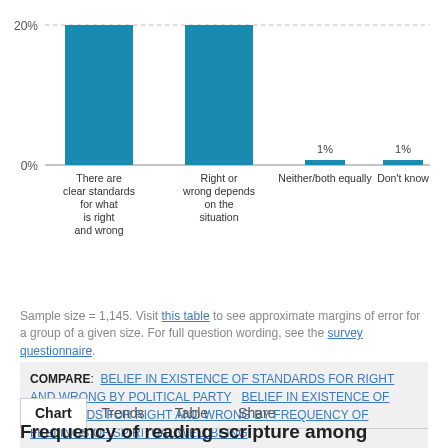[Figure (bar-chart): Belief in existence of standards for right and wrong]
Sample size = 1,145. Visit this table to see approximate margins of error for a group of a given size. For full question wording, see the survey questionnaire.
COMPARE: BELIEF IN EXISTENCE OF STANDARDS FOR RIGHT AND WRONG BY POLITICAL PARTY   BELIEF IN EXISTENCE OF STANDARDS FOR RIGHT AND WRONG BY FREQUENCY OF FEELINGS OF SPIRITUAL WELLBEING
Chart   Trends   Table   Share
Frequency of reading scripture among adults who